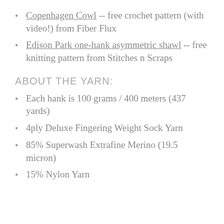Copenhagen Cowl -- free crochet pattern (with video!) from Fiber Flux
Edison Park one-hank asymmetric shawl -- free knitting pattern from Stitches n Scraps
ABOUT THE YARN:
Each hank is 100 grams / 400 meters (437 yards)
4ply Deluxe Fingering Weight Sock Yarn
85% Superwash Extrafine Merino (19.5 micron)
15% Nylon Yarn